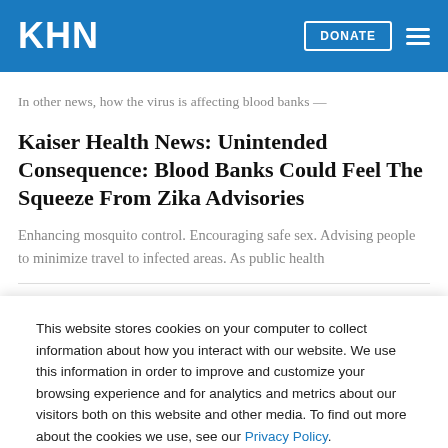KHN | DONATE
In other news, how the virus is affecting blood banks —
Kaiser Health News: Unintended Consequence: Blood Banks Could Feel The Squeeze From Zika Advisories
Enhancing mosquito control. Encouraging safe sex. Advising people to minimize travel to infected areas. As public health
This website stores cookies on your computer to collect information about how you interact with our website. We use this information in order to improve and customize your browsing experience and for analytics and metrics about our visitors both on this website and other media. To find out more about the cookies we use, see our Privacy Policy.
Accept